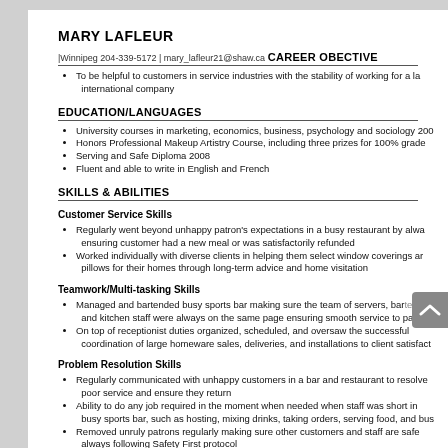MARY LAFLEUR
|Winnipeg 204-339-5172 | mary_lafleur21@shaw.ca
CAREER OBECTIVE
To be helpful to customers in service industries with the stability of working for a large international company
EDUCATION/LANGUAGES
University courses in marketing, economics, business, psychology and sociology 200...
Honors Professional Makeup Artistry Course, including three prizes for 100% grade
Serving and Safe Diploma 2008
Fluent and able to write in English and French
SKILLS & ABILITIES
Customer Service Skills
Regularly went beyond unhappy patron's expectations in a busy restaurant by always ensuring customer had a new meal or was satisfactorily refunded
Worked individually with diverse clients in helping them select window coverings and pillows for their homes through long-term advice and home visitation
Teamwork/Multi-tasking Skills
Managed and bartended busy sports bar making sure the team of servers, bartenders and kitchen staff were always on the same page ensuring smooth service to patrons
On top of receptionist duties organized, scheduled, and oversaw the successful coordination of large homeware sales, deliveries, and installations to client satisfaction
Problem Resolution Skills
Regularly communicated with unhappy customers in a bar and restaurant to resolve poor service and ensure they return
Ability to do any job required in the moment when needed when staff was short in a busy sports bar, such as hosting, mixing drinks, taking orders, serving food, and busing
Removed unruly patrons regularly making sure other customers and staff are safe always following Safety First protocol